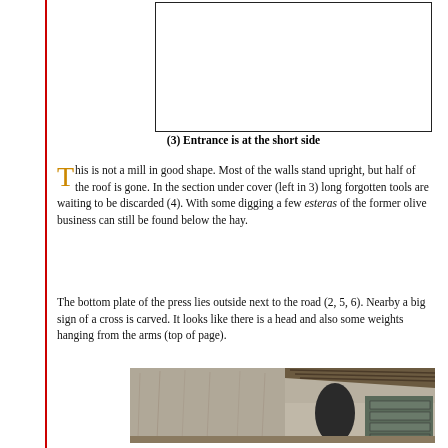[Figure (photo): Empty white box with black border representing a photo placeholder at the top of the page]
(3) Entrance is at the short side
This is not a mill in good shape. Most of the walls stand upright, but half of the roof is gone. In the section under cover (left in 3) long forgotten tools are waiting to be discarded (4). With some digging a few esteras of the former olive business can still be found below the hay.
The bottom plate of the press lies outside next to the road (2, 5, 6). Nearby a big sign of a cross is carved. It looks like there is a head and also some weights hanging from the arms (top of page).
[Figure (photo): Interior photograph of an old mill building showing stone/concrete walls, a partially collapsed roof with exposed beams, and metal equipment/furniture in the right portion of the image.]